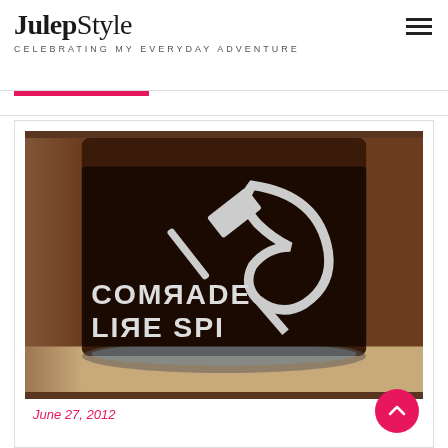JulepStyle — CELEBRATING MY EVERYDAY ADVENTURE
[Figure (photo): A glass bottle/cup with a dark brown label featuring a hammer and sickle symbol and text reading 'COMRADE LIKE SPI' (partially visible), photographed on a table]
June 27, 2012